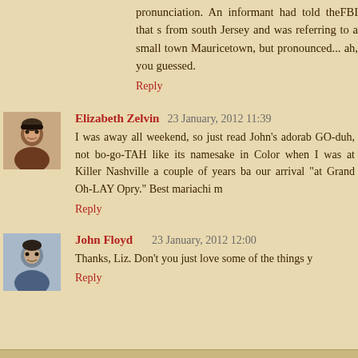pronunciation. An informant had told theFBI that s from south Jersey and was referring to a small town Mauricetown, but pronounced... ah, you guessed.
Reply
Elizabeth Zelvin 23 January, 2012 11:39
I was away all weekend, so just read John's adorab GO-duh, not bo-go-TAH like its namesake in Color when I was at Killer Nashville a couple of years ba our arrival "at Grand Oh-LAY Opry." Best mariachi m
Reply
John Floyd 23 January, 2012 12:00
Thanks, Liz. Don't you just love some of the things y
Reply